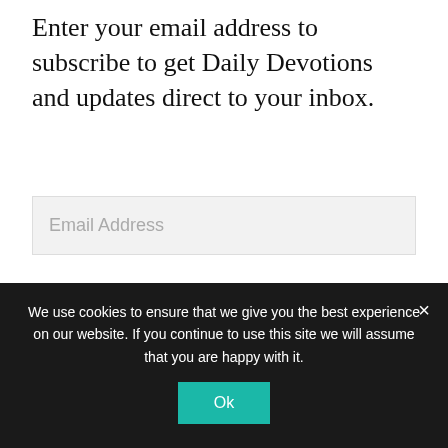Enter your email address to subscribe to get Daily Devotions and updates direct to your inbox.
Email Address
SUBSCRIBE
June 2022 Magazine
We use cookies to ensure that we give you the best experience on our website. If you continue to use this site we will assume that you are happy with it.
Ok